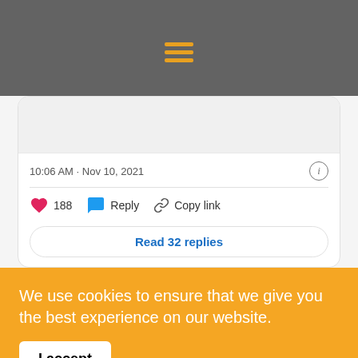Navigation menu icon (hamburger)
10:06 AM · Nov 10, 2021
188  Reply  Copy link
Read 32 replies
We use cookies to ensure that we give you the best experience on our website.
I accept